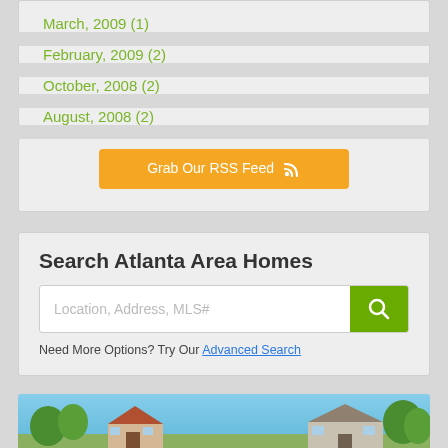March, 2009  (1)
February, 2009  (2)
October, 2008  (2)
August, 2008  (2)
Grab Our RSS Feed
Search Atlanta Area Homes
Location, Address, MLS#
Need More Options? Try Our Advanced Search
[Figure (photo): Photo of house exterior with blue sky and trees]